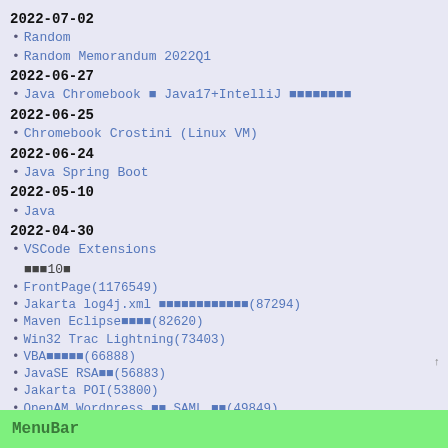2022-07-02
Random
Random Memorandum 2022Q1
2022-06-27
Java Chromebook ■ Java17+IntelliJ ■■■■■■■■
2022-06-25
Chromebook Crostini (Linux VM)
2022-06-24
Java Spring Boot
2022-05-10
Java
2022-04-30
VSCode Extensions
■■■10■
FrontPage(1176549)
Jakarta log4j.xml ■■■■■■■■■■■■(87294)
Maven Eclipse■■■■(82620)
Win32 Trac Lightning(73403)
VBA■■■■■(66888)
JavaSE RSA■■(56883)
Jakarta POI(53800)
OpenAM Wordpress ■■ SAML ■■(49849)
Java(49200)
OpenAM ■■■■■■(47174)
MenuBar